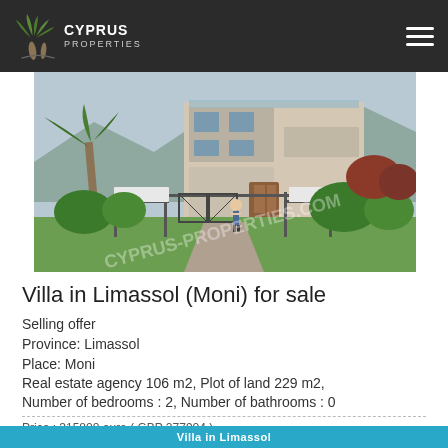Cyprus Properties
[Figure (photo): Exterior rendering of a modern villa with lush garden, palm trees, gate, and a person walking toward the entrance. Watermark text visible.]
Villa in Limassol (Moni) for sale
Selling offer
Province: Limassol
Place: Moni
Real estate agency 106 m2, Plot of land 229 m2,
Number of bedrooms : 2, Number of bathrooms : 0
Price : 315800 euro ( GBP 277904 )